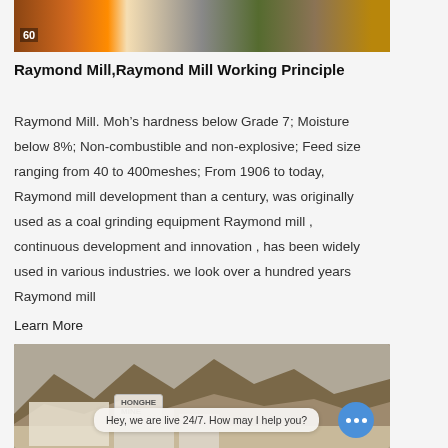[Figure (photo): Top banner image showing industrial vehicles and equipment (trucks, machinery) in a yellow/brown industrial setting with the number 60 visible.]
Raymond Mill,Raymond Mill Working Principle
Raymond Mill. Moh’s hardness below Grade 7; Moisture below 8%; Non-combustible and non-explosive; Feed size ranging from 40 to 400meshes; From 1906 to today, Raymond mill development than a century, was originally used as a coal grinding equipment Raymond mill , continuous development and innovation , has been widely used in various industries. we look over a hundred years Raymond mill
Learn More
[Figure (photo): Aerial/landscape photograph showing a factory or industrial plant complex situated at the base of mountains in an arid region, with a chat bubble overlay reading 'Hey, we are live 24/7. How may I help you?' and a blue chat icon with three dots.]